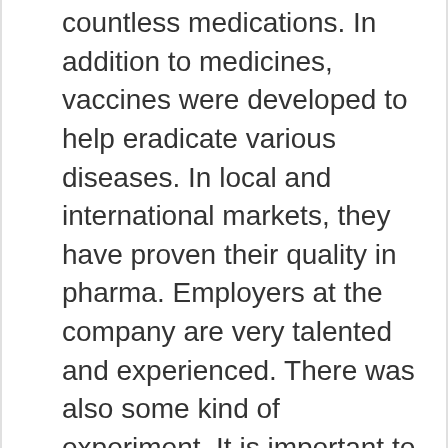countless medications. In addition to medicines, vaccines were developed to help eradicate various diseases. In local and international markets, they have proven their quality in pharma. Employers at the company are very talented and experienced. There was also some kind of experiment. It is important to weigh in one trait to determine why a company is ranked and leading.